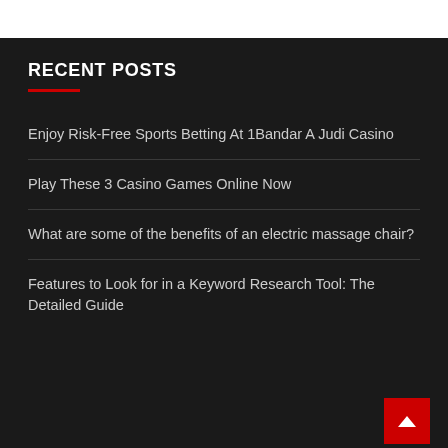RECENT POSTS
Enjoy Risk-Free Sports Betting At 1Bandar A Judi Casino
Play These 3 Casino Games Online Now
What are some of the benefits of an electric massage chair?
Features to Look for in a Keyword Research Tool: The Detailed Guide